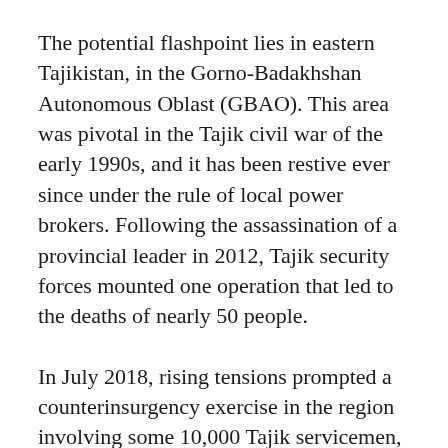The potential flashpoint lies in eastern Tajikistan, in the Gorno-Badakhshan Autonomous Oblast (GBAO). This area was pivotal in the Tajik civil war of the early 1990s, and it has been restive ever since under the rule of local power brokers. Following the assassination of a provincial leader in 2012, Tajik security forces mounted one operation that led to the deaths of nearly 50 people.
In July 2018, rising tensions prompted a counterinsurgency exercise in the region involving some 10,000 Tajik servicemen, mainly reservists, designed to simulate the “elimination of terrorists” infiltrating across the border from Afghanistan. Some 400 Russian troops with heavy equipment also took part.